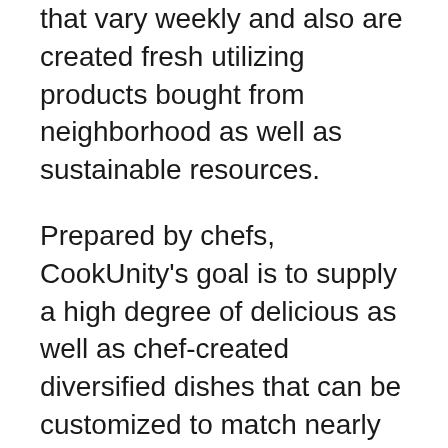that vary weekly and also are created fresh utilizing products bought from neighborhood as well as sustainable resources.
Prepared by chefs, CookUnity's goal is to supply a high degree of delicious as well as chef-created diversified dishes that can be customized to match nearly any type of dietary need or premium choice. Although the dishes offered are not tailored, the symbols at the top of the food option page assist you in tailoring to your certain needs by allowing you to pick from low salt, vegan, paleo, and gluten-free options, to name a few instances of what is available.
Sorts of Food They